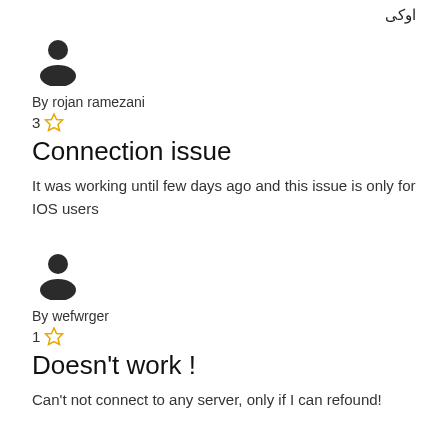اوکی
[Figure (illustration): User avatar icon (dark silhouette of a person)]
By rojan ramezani
3 ☆
Connection issue
It was working until few days ago and this issue is only for IOS users
[Figure (illustration): User avatar icon (dark silhouette of a person)]
By wefwrger
1 ☆
Doesn't work !
Can't not connect to any server, only if I can refound!